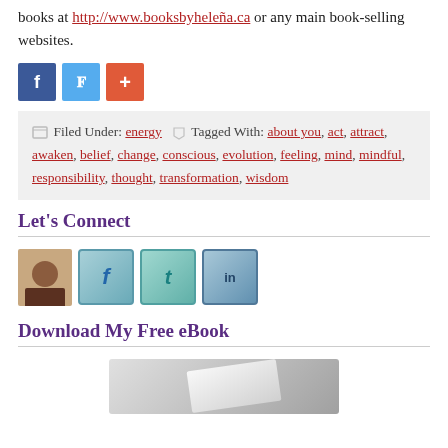books at http://www.booksbyheleha.ca or any main book-selling websites.
[Figure (other): Social share buttons: Facebook (blue), Twitter (light blue), Google+ (orange-red)]
Filed Under: energy  Tagged With: about you, act, attract, awaken, belief, change, conscious, evolution, feeling, mind, mindful, responsibility, thought, transformation, wisdom
Let's Connect
[Figure (other): Row of social media icons: author photo, Facebook, Twitter, LinkedIn]
Download My Free eBook
[Figure (other): Partial image of eBook cover at bottom of page]